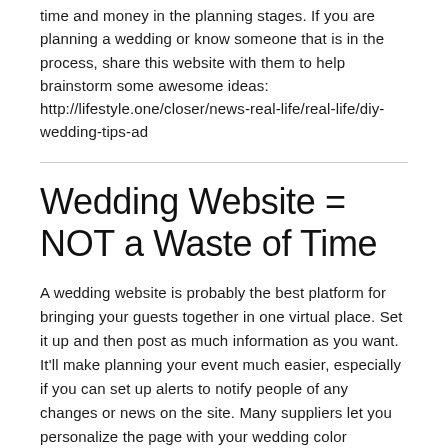time and money in the planning stages. If you are planning a wedding or know someone that is in the process, share this website with them to help brainstorm some awesome ideas: http://lifestyle.one/closer/news-real-life/real-life/diy-wedding-tips-ad
Wedding Website = NOT a Waste of Time
A wedding website is probably the best platform for bringing your guests together in one virtual place. Set it up and then post as much information as you want. It'll make planning your event much easier, especially if you can set up alerts to notify people of any changes or news on the site. Many suppliers let you personalize the page with your wedding color scheme, add photos and